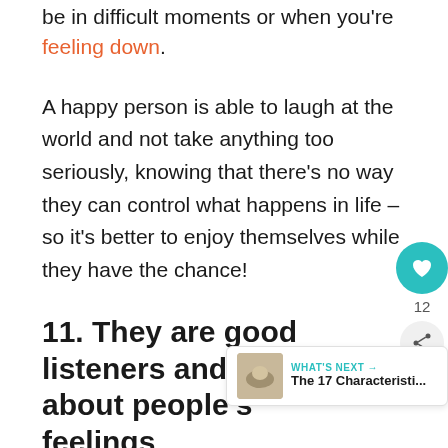be in difficult moments or when you're feeling down.
A happy person is able to laugh at the world and not take anything too seriously, knowing that there's no way they can control what happens in life – so it's better to enjoy themselves while they have the chance!
11. They are good listeners and care about people's feelings
A happy person knows how much a kind word and listening ear can mean to